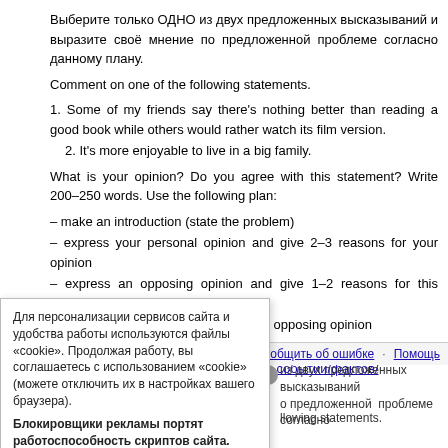Выберите только ОДНО из двух предложенных высказываний и выразите своё мнение по предложенной проблеме согласно данному плану.
Comment on one of the following statements.
1. Some of my friends say there's nothing better than reading a good book while others would rather watch its film version.
2. It's more enjoyable to live in a big family.
What is your opinion? Do you agree with this statement? Write 200–250 words. Use the following plan:
– make an introduction (state the problem)
– express your personal opinion and give 2–3 reasons for your opinion
– express an opposing opinion and give 1–2 reasons for this opposing opinion
– explain why you don't agree with the opposing opinion
– make a conclusion restating your position
Раздел кодификатора ФИПИ: 4.6 Описание событий/фактов/ явлений
Сообщить об ошибке · Помощь
Для персонализации сервисов сайта и удобства работы используются файлы «cookie». Продолжая работу, вы соглашаетесь с использованием «cookie» (можете отключить их в настройках вашего браузера).
Блокировщики рекламы портят работоспособность скриптов сайта. Выключите.